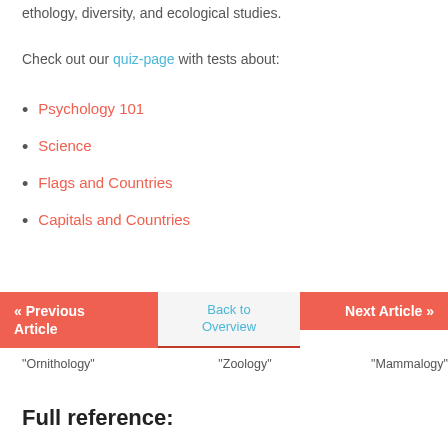ethology, diversity, and ecological studies.
Check out our quiz-page with tests about:
Psychology 101
Science
Flags and Countries
Capitals and Countries
« Previous Article
Back to Overview
Next Article »
"Ornithology"
"Zoology"
"Mammalogy"
Full reference: